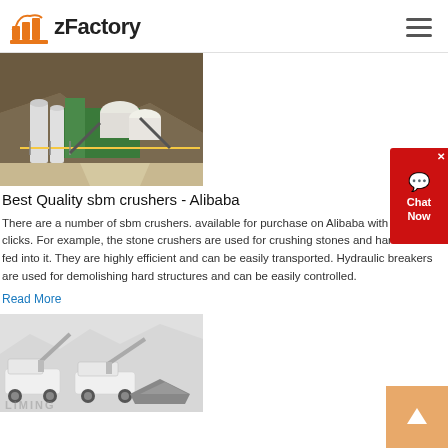zFactory
[Figure (photo): Aerial view of a mining/crushing facility with large structures, conveyors, and rocky terrain]
Best Quality sbm crushers - Alibaba
There are a number of sbm crushers. available for purchase on Alibaba with just a few clicks. For example, the stone crushers are used for crushing stones and hard rocks fed into it. They are highly efficient and can be easily transported. Hydraulic breakers are used for demolishing hard structures and can be easily controlled.
Read More
[Figure (photo): Mobile crusher machines on gray background with LIMING watermark]